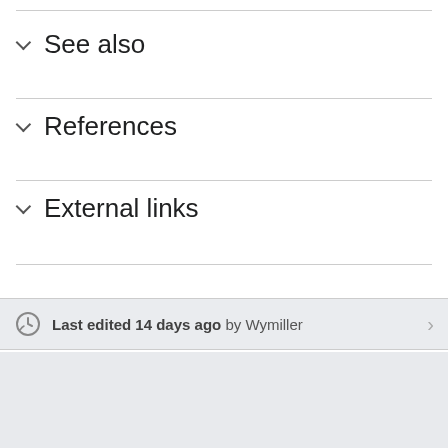See also
References
External links
Last edited 14 days ago by Wymiller